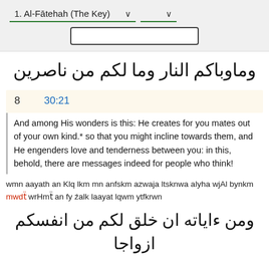1. Al-Fātehah (The Key)
وماوباكم النار وما لكم من ناصرين
8   30:21
And among His wonders is this: He creates for you mates out of your own kind.* so that you might incline towards them, and He engenders love and tenderness between you: in this, behold, there are messages indeed for people who think!
wmn aayath an Klq lkm mn anfskm azwaja ltsknwa alyha wjAl bynkm mwdẗ wrHmẗ an fy źalk laayat lqwm ytfkrwn
ومن ءاياته ان خلق لكم من انفسكم ازواجا